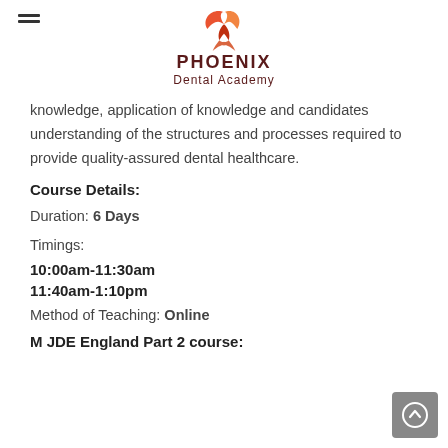[Figure (logo): Phoenix Dental Academy logo with phoenix bird graphic in red/orange and dark maroon text]
knowledge, application of knowledge and candidates understanding of the structures and processes required to provide quality-assured dental healthcare.
Course Details:
Duration: 6 Days
Timings:
10:00am-11:30am
11:40am-1:10pm
Method of Teaching: Online
M JDE England Part 2 course: